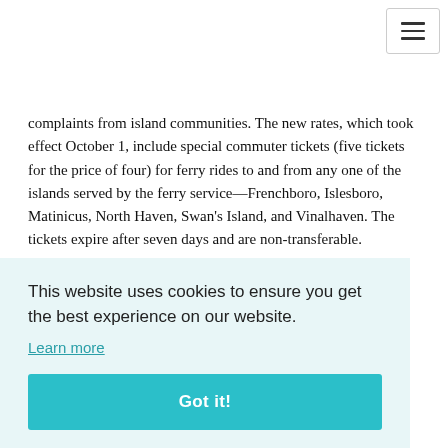complaints from island communities. The new rates, which took effect October 1, include special commuter tickets (five tickets for the price of four) for ferry rides to and from any one of the islands served by the ferry service—Frenchboro, Islesboro, Matinicus, North Haven, Swan's Island, and Vinalhaven. The tickets expire after seven days and are non-transferable.
Another change is a shift to seasonal ticket prices for all of the islands except Matinicus. Prices are higher in the peak season [obscured] er 1 to [obscured]
[obscured] go that [obscured] ge in [obscured] rojected [obscured] to all [obscured] es, [obscured] and took a disproportionate hit. They filed a privately funded lawsuit
This website uses cookies to ensure you get the best experience on our website.
Learn more
Got it!